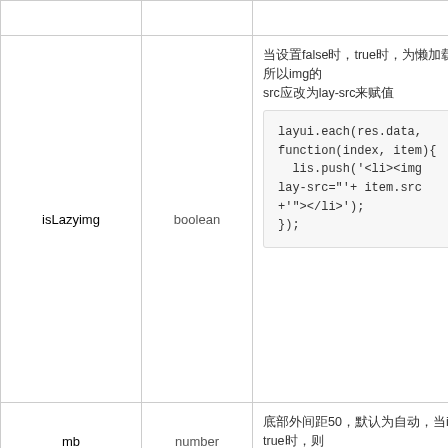|  | boolean |  |
| --- | --- | --- |
| isLazyimg | boolean | 当设置false时，true时，为懒加载模式，所以img的src应改为lay-src来赋值
layui.each(res.data, function(index, item){
  lis.push('<li><img lay-src="'+ item.src +'">
</li>');
}); |
| mb | number | 底部外间距50，默认为自动，当isAuto为true时，则设置mb=margin-bottom这个高度的距离 |
|  |  | 回调函数，分页状态改变时执行
done: function(page |